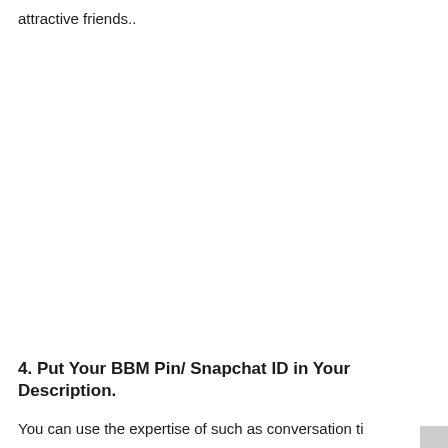attractive friends..
4. Put Your BBM Pin/ Snapchat ID in Your Description.
You can use the expertise of such as conversation ti...